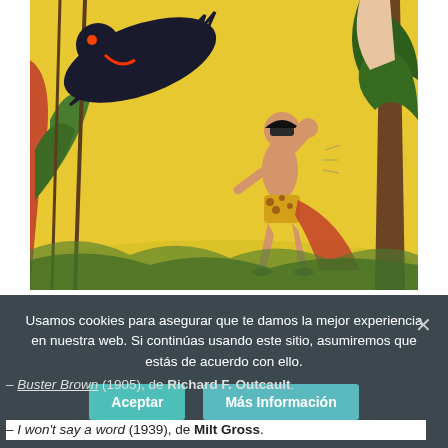[Figure (illustration): Comic book illustration showing a jungle scene with a masked hero in leopard-print shorts in a fighting stance, a black panther leaping, and other figures in a tropical setting with yellow background.]
Usamos cookies para asegurar que te damos la mejor experiencia en nuestra web. Si continúas usando este sitio, asumiremos que estás de acuerdo con ello.
– Buster Brown (1905), de Richard F. Outcault.
– I won't say a word (1939), de Milt Gross.